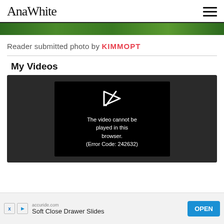AnaWhite
[Figure (photo): Green foliage/garden hero image strip at top of page]
Reader submitted photo by KIMMOPT
My Videos
[Figure (screenshot): Video player showing black box with play icon and error message: The video cannot be played in this browser. (Error Code: 242632)]
[Figure (screenshot): Advertisement banner: accuride.com - Soft Close Drawer Slides - OPEN button]